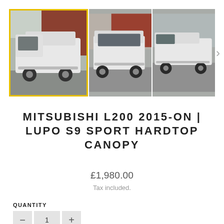[Figure (photo): Product image gallery showing a white Mitsubishi L200 pickup truck with a hardtop canopy. Three images visible: selected thumbnail on left (with yellow border), center image showing rear of truck, right image showing side profile. A right-pointing navigation arrow is visible.]
MITSUBISHI L200 2015-ON | LUPO S9 SPORT HARDTOP CANOPY
£1,980.00
Tax included.
QUANTITY
1